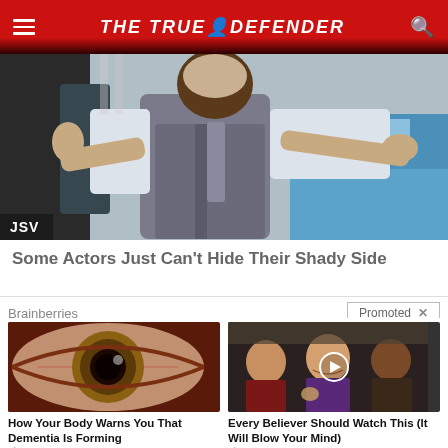THE TRUE DEFENDER
[Figure (photo): Person in gray vest and white shirt with arms outstretched next to a blue car, with JSV badge overlay]
Some Actors Just Can't Hide Their Shady Side
Brainberries   Promoted X
[Figure (photo): Close-up of a human eye with detailed iris]
How Your Body Warns You That Dementia Is Forming
🔥 40,231
[Figure (photo): Group of people at press conference, with video play button overlay]
Every Believer Should Watch This (It Will Blow Your Mind)
🔥 379,007